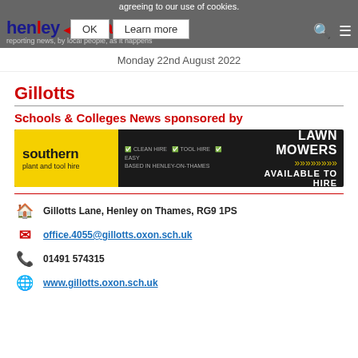agreeing to our use of cookies. OK Learn more henley herald reporting news, by local people, as it happens
Monday 22nd August 2022
Gillotts
Schools & Colleges News sponsored by
[Figure (illustration): Southern plant and tool hire advertisement banner. Yellow logo on left with text 'southern plant and tool hire'. Dark background with text 'LAWN MOWERS AVAILABLE TO HIRE' and yellow arrows.]
Gillotts Lane, Henley on Thames, RG9 1PS
office.4055@gillotts.oxon.sch.uk
01491 574315
www.gillotts.oxon.sch.uk